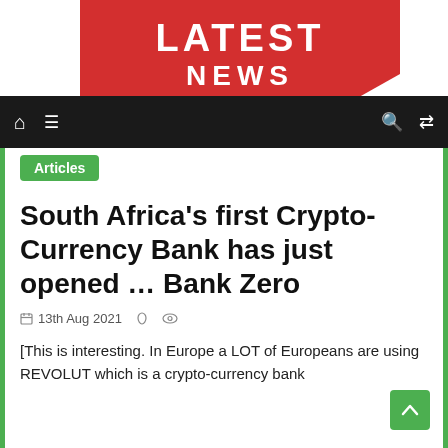[Figure (logo): Red banner with 'LATEST NEWS' text in white on red background]
Navigation bar with home, menu, search, and shuffle icons
Articles
South Africa's first Crypto-Currency Bank has just opened … Bank Zero
13th Aug 2021
[This is interesting. In Europe a LOT of Europeans are using REVOLUT which is a crypto-currency bank